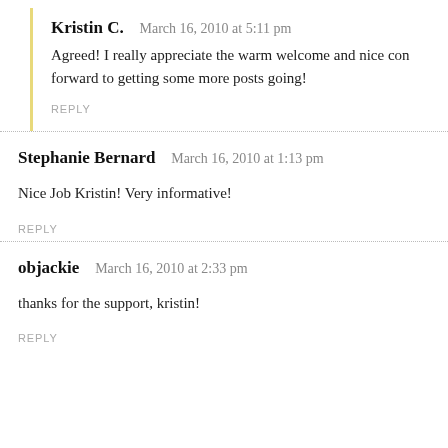Kristin C.   March 16, 2010 at 5:11 pm
Agreed! I really appreciate the warm welcome and nice con… forward to getting some more posts going!
REPLY
Stephanie Bernard   March 16, 2010 at 1:13 pm
Nice Job Kristin! Very informative!
REPLY
objackie   March 16, 2010 at 2:33 pm
thanks for the support, kristin!
REPLY